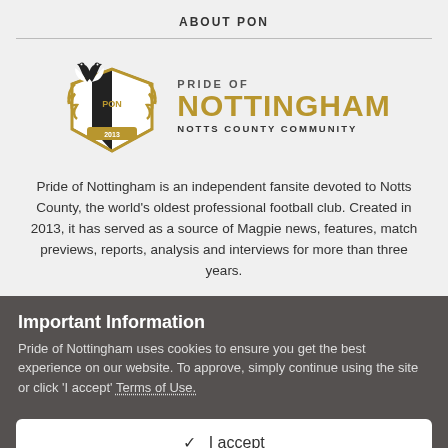ABOUT PON
[Figure (logo): Pride of Nottingham – Notts County Community logo with magpie and shield, gold text reading PRIDE OF NOTTINGHAM NOTTS COUNTY COMMUNITY]
Pride of Nottingham is an independent fansite devoted to Notts County, the world's oldest professional football club. Created in 2013, it has served as a source of Magpie news, features, match previews, reports, analysis and interviews for more than three years.
Important Information
Pride of Nottingham uses cookies to ensure you get the best experience on our website. To approve, simply continue using the site or click 'I accept' Terms of Use.
✓  I accept